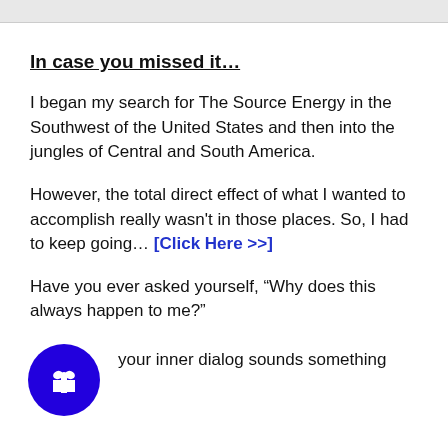In case you missed it…
I began my search for The Source Energy in the Southwest of the United States and then into the jungles of Central and South America.
However, the total direct effect of what I wanted to accomplish really wasn't in those places. So, I had to keep going… [Click Here >>]
Have you ever asked yourself, “Why does this always happen to me?”
your inner dialog sounds something like…